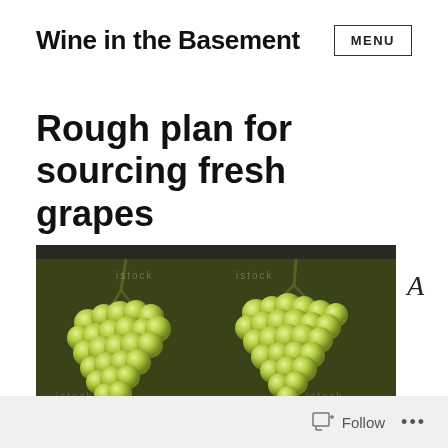Wine in the Basement   MENU
Rough plan for sourcing fresh grapes
[Figure (photo): Close-up photograph of clusters of green/white grapes in a dark plastic container or tray, viewed from above. The grapes are round, light green to yellow-green in color with watermark text overlaid.]
Follow   ...